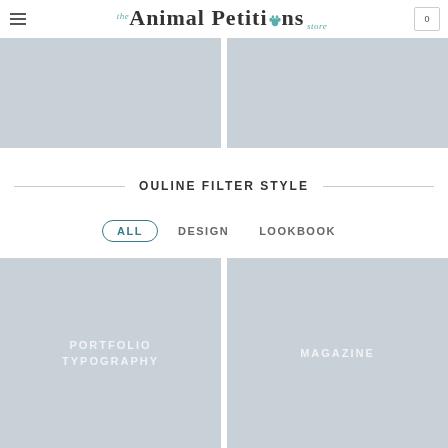the Animal Petitions store
[Figure (photo): Two placeholder gray image blocks at the top]
OULINE FILTER STYLE
ALL   DESIGN   LOOKBOOK
[Figure (photo): Two placeholder gray image blocks at the bottom, labeled PORTFOLIO TYPOGRAPHY and MAGAZINE]